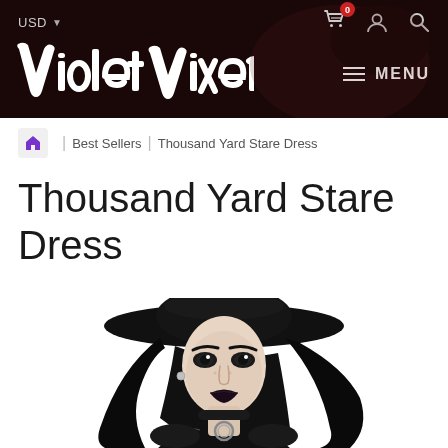USD | Violet Vixen | MENU
Home / Best Sellers / Thousand Yard Stare Dress
Thousand Yard Stare Dress
[Figure (photo): Product photo of a model wearing a black goth-style dress with a wide-brim black hat, dark makeup, and a choker necklace with a ring pendant. White background.]